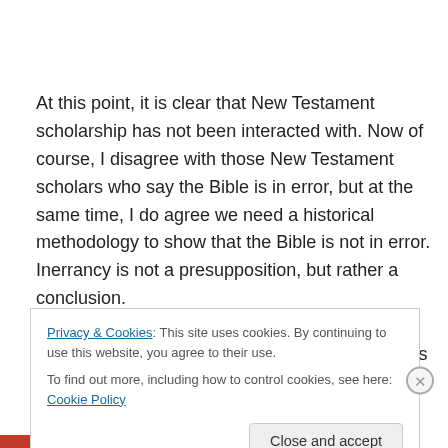At this point, it is clear that New Testament scholarship has not been interacted with. Now of course, I disagree with those New Testament scholars who say the Bible is in error, but at the same time, I do agree we need a historical methodology to show that the Bible is not in error. Inerrancy is not a presupposition, but rather a conclusion.

In fact, it's ironic that there is a statement like this because
Privacy & Cookies: This site uses cookies. By continuing to use this website, you agree to their use.
To find out more, including how to control cookies, see here: Cookie Policy
Close and accept